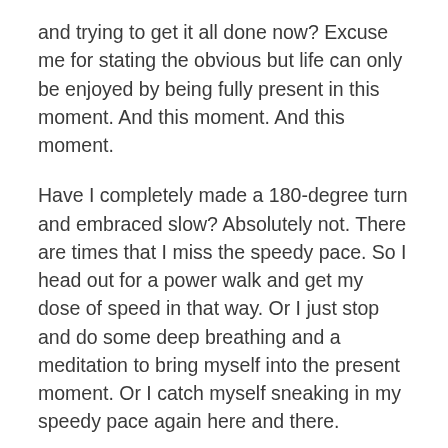and trying to get it all done now?  Excuse me for stating the obvious but life can only be enjoyed by being fully present in this moment.  And this moment.  And this moment.
Have I completely made a 180-degree turn and embraced slow?  Absolutely not.  There are times that I miss the speedy pace.  So I head out for a power walk and get my dose of speed in that way.  Or I just stop and do some deep breathing and a meditation to bring myself into the present moment.  Or I catch myself sneaking in my speedy pace again here and there.
What about you?  What are you missing out on as you speed along the highway of your life?  Do you ever stop and look at the sights along the way?  Or take an unplanned detour because who knows what might be